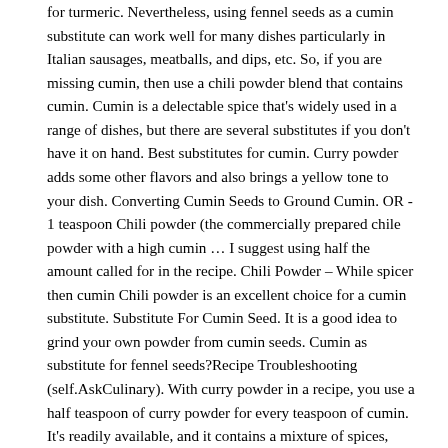for turmeric. Nevertheless, using fennel seeds as a cumin substitute can work well for many dishes particularly in Italian sausages, meatballs, and dips, etc. So, if you are missing cumin, then use a chili powder blend that contains cumin. Cumin is a delectable spice that's widely used in a range of dishes, but there are several substitutes if you don't have it on hand. Best substitutes for cumin. Curry powder adds some other flavors and also brings a yellow tone to your dish. Converting Cumin Seeds to Ground Cumin. OR - 1 teaspoon Chili powder (the commercially prepared chile powder with a high cumin … I suggest using half the amount called for in the recipe. Chili Powder – While spicer then cumin Chili powder is an excellent choice for a cumin substitute. Substitute For Cumin Seed. It is a good idea to grind your own powder from cumin seeds. Cumin as substitute for fennel seeds?Recipe Troubleshooting (self.AskCulinary). With curry powder in a recipe, you use a half teaspoon of curry powder for every teaspoon of cumin. It's readily available, and it contains a mixture of spices, including